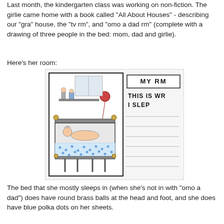Last month, the kindergarten class was working on non-fiction. The girlie came home with a book called "All About Houses" - describing our "gra" house, the "tv rm", and "omo a dad rm" (complete with a drawing of three people in the bed: mom, dad and girlie).
Here's her room:
[Figure (illustration): A child's hand-drawn book page showing a bedroom with a bed (child lying in it, brass ball bedposts, blue polka dot sheets), toys on a shelf, and a balloon. The right side has a boxed title 'MY RM' and handwritten text 'THIS IS WR I SLEP' with ruled lines below for additional writing.]
The bed that she mostly sleeps in (when she's not in with "omo a dad") does have round brass balls at the head and foot, and she does have blue polka dots on her sheets.